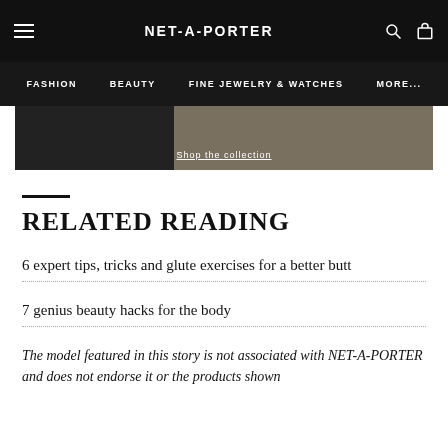NET-A-PORTER | FASHION | BEAUTY | FINE JEWELRY & WATCHES | MORE...
[Figure (screenshot): Partial banner image with 'Shop the collection' text on dark and tan background]
RELATED READING
6 expert tips, tricks and glute exercises for a better butt
7 genius beauty hacks for the body
The model featured in this story is not associated with NET-A-PORTER and does not endorse it or the products shown